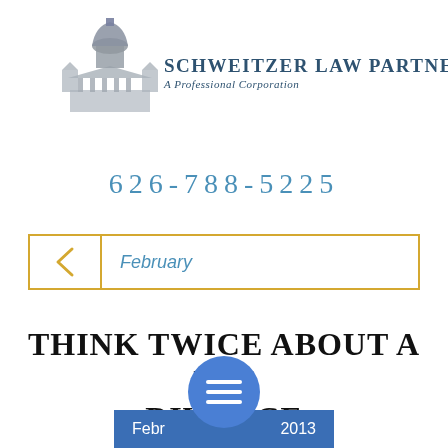[Figure (logo): Schweitzer Law Partners logo with capitol dome building illustration in gray and firm name text]
626-788-5225
February
THINK TWICE ABOUT A DIY DIVORCE
February 2013